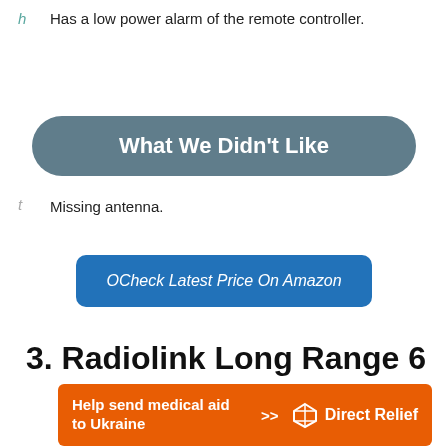h  Has a low power alarm of the remote controller.
What We Didn't Like
t  Missing antenna.
OCheck Latest Price On Amazon
3. Radiolink Long Range 6
[Figure (infographic): Orange advertisement banner for Direct Relief: Help send medical aid to Ukraine >>]